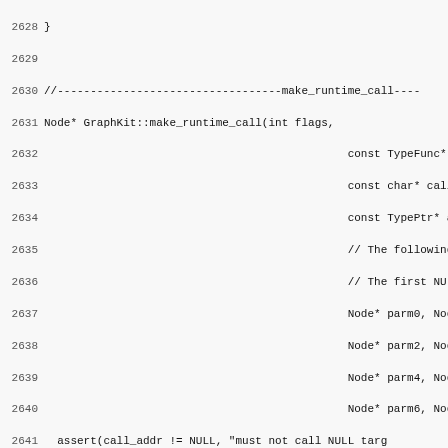Source code listing: GraphKit::make_runtime_call, lines 2628-2658